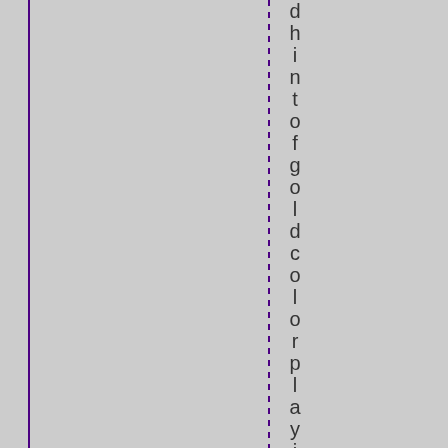[Figure (other): Page with grey background, a solid vertical purple/dark indigo line on the left side, a dashed vertical purple line in the center-right area, and vertically oriented text reading 'dhintofgoldcolorplayingoffeach' along the right side of the dashed line.]